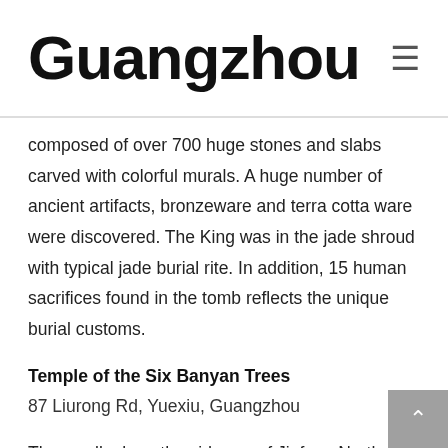Guangzhou
composed of over 700 huge stones and slabs carved with colorful murals. A huge number of ancient artifacts, bronzeware and terra cotta ware were discovered. The King was in the jade shroud with typical jade burial rite. In addition, 15 human sacrifices found in the tomb reflects the unique burial customs.
Temple of the Six Banyan Trees
87 Liurong Rd, Yuexiu, Guangzhou
Then walk along the sideway of Jiafang North Road (靖方北路) to the south direction for about 15 minutes, then right at the road of Bailing Road (百岭). Again turn left at the first T-junction